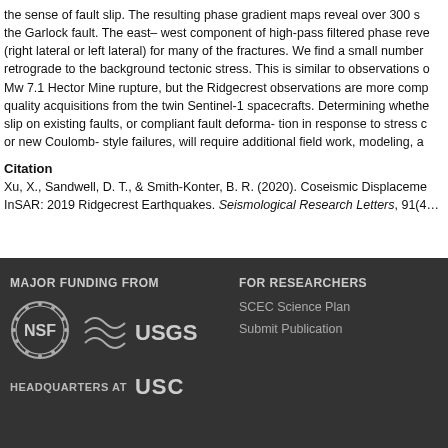the sense of fault slip. The resulting phase gradient maps reveal over 300 s… the Garlock fault. The east– west component of high-pass filtered phase rev… (right lateral or left lateral) for many of the fractures. We find a small number retrograde to the background tectonic stress. This is similar to observations o Mw 7.1 Hector Mine rupture, but the Ridgecrest observations are more comp quality acquisitions from the twin Sentinel-1 spacecrafts. Determining whethe slip on existing faults, or compliant fault deforma- tion in response to stress c or new Coulomb- style failures, will require additional field work, modeling, a
Citation
Xu, X., Sandwell, D. T., & Smith-Konter, B. R. (2020). Coseismic Displaceme InSAR: 2019 Ridgecrest Earthquakes. Seismological Research Letters, 91(4…
MAJOR FUNDING FROM | FOR RESEARCHERS | NSF | USGS | SCEC Science Plan | Submit Publication | HEADQUARTERS AT USC